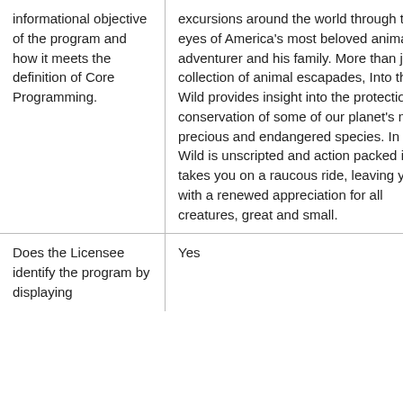| informational objective of the program and how it meets the definition of Core Programming. | excursions around the world through the eyes of America's most beloved animal adventurer and his family. More than just a collection of animal escapades, Into the Wild provides insight into the protection and conservation of some of our planet's most precious and endangered species. In to the Wild is unscripted and action packed it takes you on a raucous ride, leaving you with a renewed appreciation for all creatures, great and small. |
| Does the Licensee identify the program by displaying | Yes |